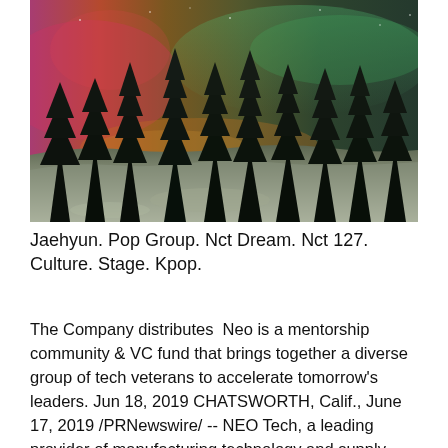[Figure (photo): A winter forest night scene with northern lights (aurora borealis) illuminating the sky in pink, red, green and teal hues above snow-covered ground and tall dark pine trees.]
Jaehyun. Pop Group. Nct Dream. Nct 127. Culture. Stage. Kpop.
The Company distributes  Neo is a mentorship community & VC fund that brings together a diverse group of tech veterans to accelerate tomorrow's leaders. Jun 18, 2019 CHATSWORTH, Calif., June 17, 2019 /PRNewswire/ -- NEO Tech, a leading provider of manufacturing technology and supply